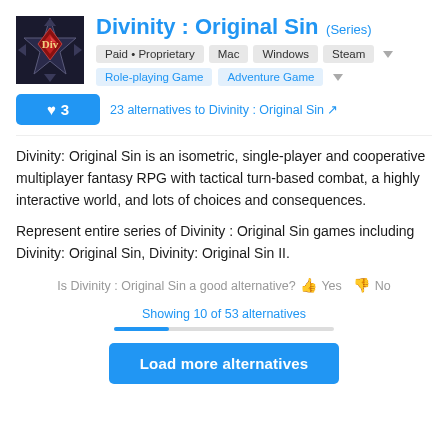Divinity : Original Sin (Series)
Paid • Proprietary   Mac   Windows   Steam
Role-playing Game   Adventure Game
♥ 3   23 alternatives to Divinity : Original Sin
Divinity: Original Sin is an isometric, single-player and cooperative multiplayer fantasy RPG with tactical turn-based combat, a highly interactive world, and lots of choices and consequences.
Represent entire series of Divinity : Original Sin games including Divinity: Original Sin, Divinity: Original Sin II.
Is Divinity : Original Sin a good alternative? 👍 Yes 👎 No
Showing 10 of 53 alternatives
Load more alternatives